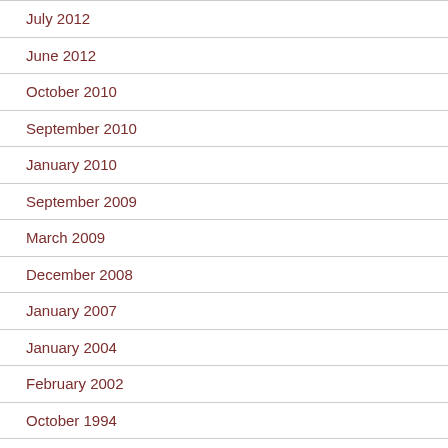July 2012
June 2012
October 2010
September 2010
January 2010
September 2009
March 2009
December 2008
January 2007
January 2004
February 2002
October 1994
September 1994
May 1994
July 1992